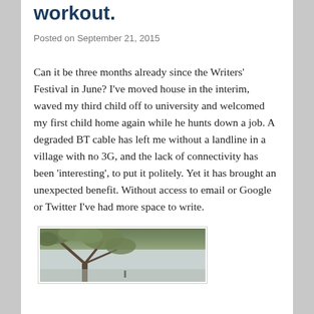workout.
Posted on September 21, 2015
Can it be three months already since the Writers' Festival in June? I've moved house in the interim, waved my third child off to university and welcomed my first child home again while he hunts down a job. A degraded BT cable has left me without a landline in a village with no 3G, and the lack of connectivity has been 'interesting', to put it politely. Yet it has brought an unexpected benefit. Without access to email or Google or Twitter I've had more space to write.
[Figure (photo): Outdoor photograph showing tree branches with foliage against a light sky background]